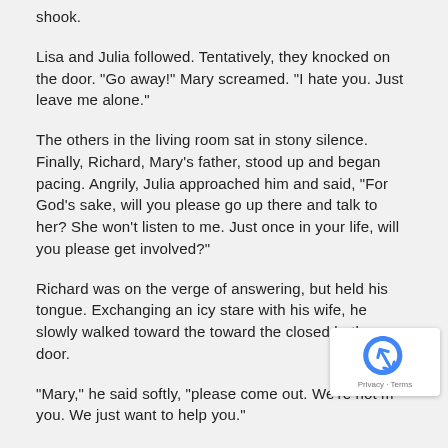shook.
Lisa and Julia followed. Tentatively, they knocked on the door. "Go away!" Mary screamed. "I hate you. Just leave me alone."
The others in the living room sat in stony silence. Finally, Richard, Mary's father, stood up and began pacing. Angrily, Julia approached him and said, "For God's sake, will you please go up there and talk to her? She won't listen to me. Just once in your life, will you please get involved?"
Richard was on the verge of answering, but held his tongue. Exchanging an icy stare with his wife, he slowly walked toward the toward the closed bathroom door.
"Mary," he said softly, "please come out. We're not m you. We just want to help you."
No answer. Even more softly, as if his heart were breaking